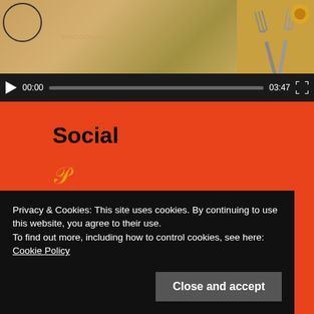[Figure (screenshot): Video player with thumbnail showing food/forks on orange/brown background, playback controls showing 00:00 / 03:47, yincooking.com watermark]
Social
[Figure (other): Pinterest icon (gold/yellow P symbol)]
Recent Posts
Privacy & Cookies: This site uses cookies. By continuing to use this website, you agree to their use.
To find out more, including how to control cookies, see here: Cookie Policy
Close and accept
Beauty Cold Mask Packs 40g